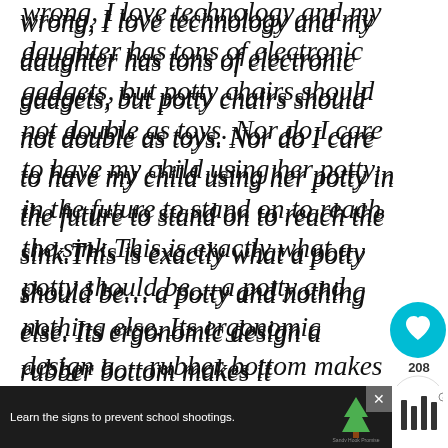wrong, I love technology and my daughter has tons of electronic gadgets, but potty chairs should not double as toys. Nor do I care to have my child using her potty in the future to stand on to reach the sink.This is exactly what a potty should be… a potty and nothing else. Its ergonomic design and rubber bottom makes it comfortable and stable, even on carpet. It looks remarkably similar to a real potty because if . smooth, white finish. When I got it home my
[Figure (screenshot): UI overlay with heart/like button (teal circle with heart icon), share count of 208, share button, and a 'What's Next' recommendation panel showing 'Start Potty Training:...' with an icon]
[Figure (screenshot): Advertisement bar at bottom: dark background with text 'Learn the signs to prevent school shootings.' and Sandy Hook Promise logo with tree graphic. Close button (X) visible. Social media icons on the right.]